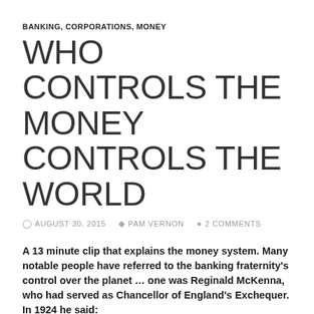BANKING, CORPORATIONS, MONEY
WHO CONTROLS THE MONEY CONTROLS THE WORLD
AUGUST 30, 2015  PAM VERNON  2 COMMENTS
A 13 minute clip that explains the money system. Many notable people have referred to the banking fraternity's control over the planet … one was Reginald McKenna, who had served as Chancellor of England's Exchequer. In 1924 he said:
“I am afraid that the ordinary citizen will not like to be told that the banks can and do create money, and they who control the